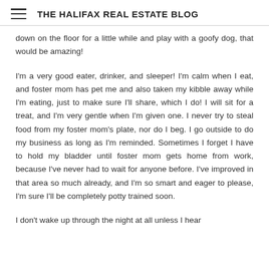THE HALIFAX REAL ESTATE BLOG
down on the floor for a little while and play with a goofy dog, that would be amazing!
I'm a very good eater, drinker, and sleeper! I'm calm when I eat, and foster mom has pet me and also taken my kibble away while I'm eating, just to make sure I'll share, which I do! I will sit for a treat, and I'm very gentle when I'm given one. I never try to steal food from my foster mom's plate, nor do I beg. I go outside to do my business as long as I'm reminded. Sometimes I forget I have to hold my bladder until foster mom gets home from work, because I've never had to wait for anyone before. I've improved in that area so much already, and I'm so smart and eager to please, I'm sure I'll be completely potty trained soon.
I don't wake up through the night at all unless I hear